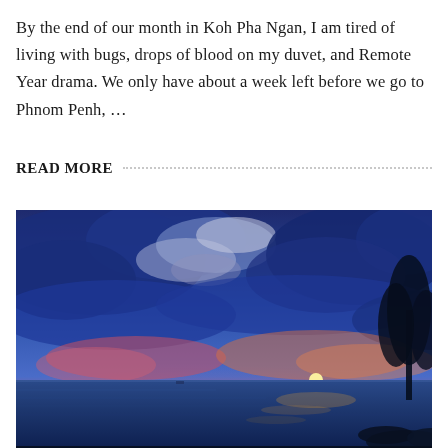By the end of our month in Koh Pha Ngan, I am tired of living with bugs, drops of blood on my duvet, and Remote Year drama. We only have about a week left before we go to Phnom Penh, …
READ MORE
[Figure (photo): A dramatic sunset over a calm tropical sea. The sky is filled with large blue and purple clouds illuminated pink and orange near the horizon. The sun is partially visible near the horizon on the right side, casting golden light on the water. Silhouettes of trees are visible on the far right edge.]